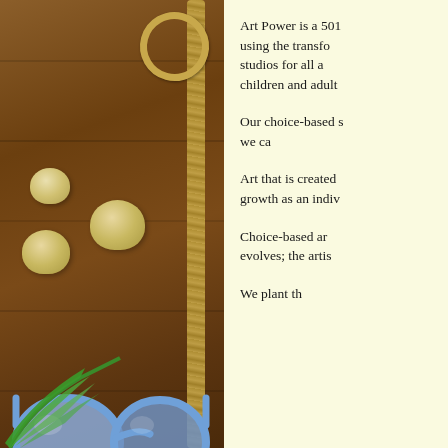[Figure (photo): Left half shows a wooden plank background with a braided rope ring, three seashells, blue cat-eye sunglasses, and a green palm leaf at the bottom. A vertical rope runs down the right side of the image.]
Art Power is a 501 using the transfo studios for all a children and adult
Our choice-based s we ca
Art that is created growth as an indiv
Choice-based ar evolves; the artis
We plant th